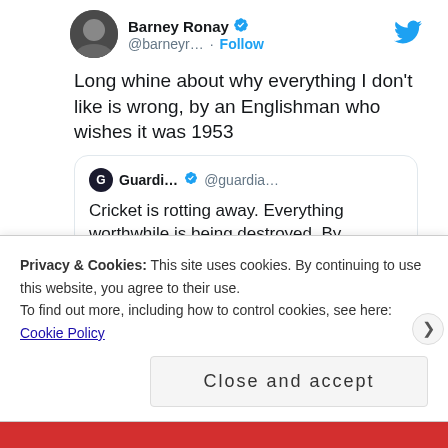[Figure (screenshot): Tweet by Barney Ronay (@barneyr...) with verified badge and Follow button. Tweet text: 'Long whine about why everything I don't like is wrong, by an Englishman who wishes it was 1953'. Quoted tweet from Guardi... (@guardia...) verified: 'Cricket is rotting away. Everything worthwhile is being destroyed. By Matthew Engel theguardian.com/sport/blog/201...' Timestamp: 8:55 AM · Oct 21, 2017]
Privacy & Cookies: This site uses cookies. By continuing to use this website, you agree to their use.
To find out more, including how to control cookies, see here: Cookie Policy
Close and accept